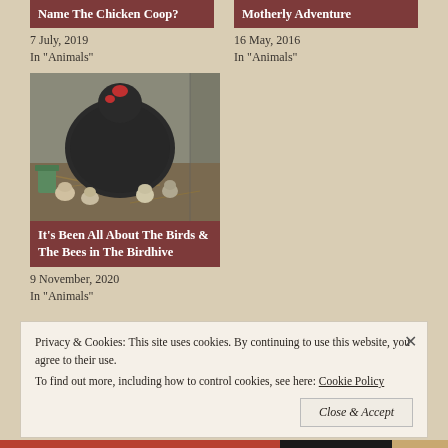Name The Chicken Coop?
7 July, 2019
In "Animals"
Motherly Adventure
16 May, 2016
In "Animals"
[Figure (photo): A dark fluffy chicken (Silkie hen) with chicks gathered around her on straw/hay bedding indoors]
It's Been All About The Birds & The Bees in The Birdhive
9 November, 2020
In "Animals"
Privacy & Cookies: This site uses cookies. By continuing to use this website, you agree to their use.
To find out more, including how to control cookies, see here: Cookie Policy
Close & Accept